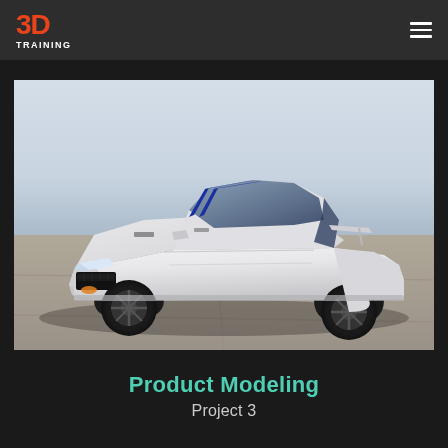3D TRAINING
[Figure (photo): White Ford Mustang Shelby GT350 with blue racing stripes, photographed from a front three-quarter angle on a concrete surface. The car has black wheels, aggressive front fascia, and the blue stripes run from the hood over the roof.]
Product Modeling
Project 3